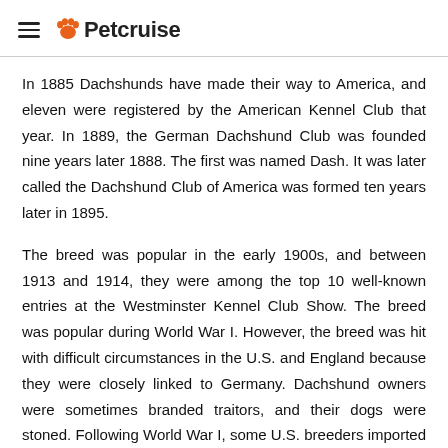Petcruise
In 1885 Dachshunds have made their way to America, and eleven were registered by the American Kennel Club that year. In 1889, the German Dachshund Club was founded nine years later 1888. The first was named Dash. It was later called the Dachshund Club of America was formed ten years later in 1895.
The breed was popular in the early 1900s, and between 1913 and 1914, they were among the top 10 well-known entries at the Westminster Kennel Club Show. The breed was popular during World War I. However, the breed was hit with difficult circumstances in the U.S. and England because they were closely linked to Germany. Dachshund owners were sometimes branded traitors, and their dogs were stoned. Following World War I, some U.S. breeders imported some Dachshunds from Germany, and the breed began to gain